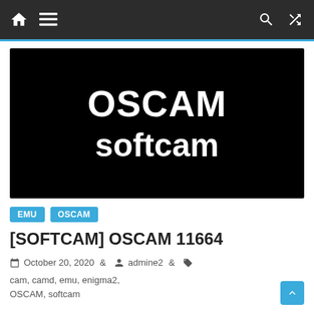Navigation bar with home, menu, search, shuffle icons
[Figure (illustration): Black background image with white bold text reading 'OSCAM softcam']
EMU  OSCAM
[SOFTCAM] OSCAM 11664
October 20, 2020  admine2  cam, camd, emu, enigma2, OSCAM, softcam